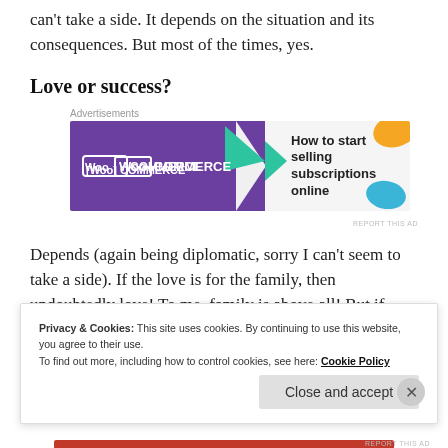can't take a side. It depends on the situation and its consequences. But most of the times, yes.
Love or success?
[Figure (other): WooCommerce advertisement banner: purple background with WooCommerce logo on left, text 'How to start selling subscriptions online' on right with decorative teal, orange, and blue shapes.]
Depends (again being diplomatic, sorry I can't seem to take a side). If the love is for the family, then undoubtedly love! To me, family is above all! But if
Privacy & Cookies: This site uses cookies. By continuing to use this website, you agree to their use. To find out more, including how to control cookies, see here: Cookie Policy
Close and accept